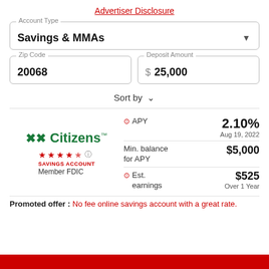Advertiser Disclosure
Account Type
Savings & MMAs
Zip Code: 20068
Deposit Amount: $ 25,000
Sort by
[Figure (logo): Citizens bank logo with green cross symbol]
SAVINGS ACCOUNT
Member FDIC
| Metric | Value |
| --- | --- |
| APY | 2.10%
Aug 19, 2022 |
| Min. balance for APY | $5,000 |
| Est. earnings | $525
Over 1 Year |
Promoted offer : No fee online savings account with a great rate.